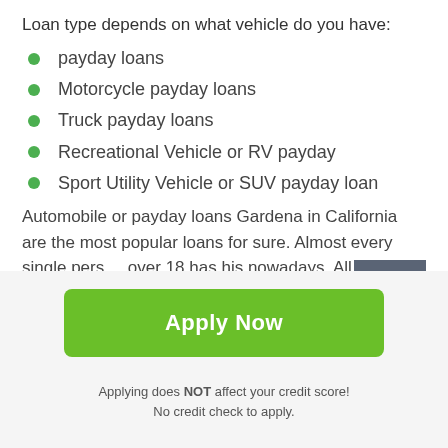Loan type depends on what vehicle do you have:
payday loans
Motorcycle payday loans
Truck payday loans
Recreational Vehicle or RV payday
Sport Utility Vehicle or SUV payday loan
Automobile or payday loans Gardena in California are the most popular loans for sure. Almost every single person over 18 has his nowadays. All you need to apply for a loan is to fill out a special application form, which could be
Apply Now
Applying does NOT affect your credit score!
No credit check to apply.